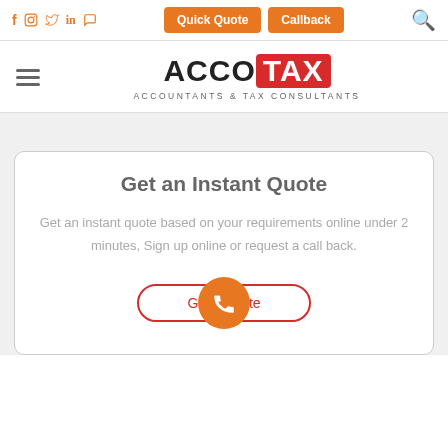Social icons: f, Instagram, Twitter, LinkedIn, WhatsApp | Quick Quote | Callback | Search
[Figure (logo): ACCOTAX logo — ACCO in black bold, TAX in white on red background, subtitle: ACCOUNTANTS & TAX CONSULTANTS]
Get an Instant Quote
Get an instant quote based on your requirements online under 2 minutes, Sign up online or request a call back.
[Figure (other): Red outlined button labeled 'Get Quote' with orange phone call button overlapping it at bottom center]